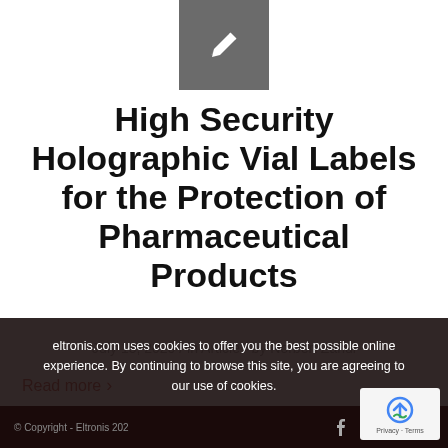[Figure (illustration): Gray square icon box with a white pencil/edit icon in the center]
High Security Holographic Vial Labels for the Protection of Pharmaceutical Products
July 13, 2020 / in Article / by Norbert Zahui
Read more ›
eltronis.com uses cookies to offer you the best possible online experience. By continuing to browse this site, you are agreeing to our use of cookies.
© Copyright - Eltronis 2020
[Figure (logo): reCAPTCHA badge with Google reCAPTCHA logo and Privacy - Terms text]